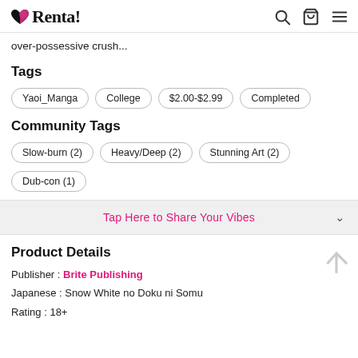Renta!
over-possessive crush...
Tags
Yaoi_Manga
College
$2.00-$2.99
Completed
Community Tags
Slow-burn (2)
Heavy/Deep (2)
Stunning Art (2)
Dub-con (1)
Tap Here to Share Your Vibes
Product Details
Publisher : Brite Publishing
Japanese : Snow White no Doku ni Somu
Rating : 18+